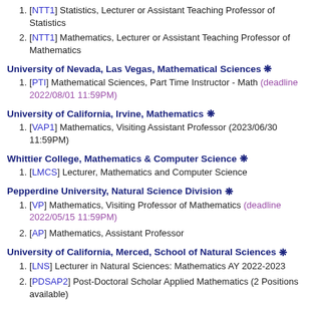[NTT1] Statistics, Lecturer or Assistant Teaching Professor of Statistics
[NTT1] Mathematics, Lecturer or Assistant Teaching Professor of Mathematics
University of Nevada, Las Vegas, Mathematical Sciences ❋
[PTI] Mathematical Sciences, Part Time Instructor - Math (deadline 2022/08/01 11:59PM)
University of California, Irvine, Mathematics ❋
[VAP1] Mathematics, Visiting Assistant Professor (2023/06/30 11:59PM)
Whittier College, Mathematics & Computer Science ❋
[LMCS] Lecturer, Mathematics and Computer Science
Pepperdine University, Natural Science Division ❋
[VP] Mathematics, Visiting Professor of Mathematics (deadline 2022/05/15 11:59PM)
[AP] Mathematics, Assistant Professor
University of California, Merced, School of Natural Sciences ❋
[LNS] Lecturer in Natural Sciences: Mathematics AY 2022-2023
[PDSAP2] Post-Doctoral Scholar Applied Mathematics (2 Positions available)